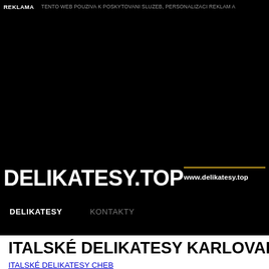REKLAMA   TENTO WEB POUZIVA K POSKYTOVANI SLUZEB, PERSONALIZACI REKLAM A
[Figure (screenshot): Black hero background area for website delikatesy.top]
DELIKATESY.TOP
www.delikatesy.top
DELIKATESY   KONTAKTY
ITALSKÉ DELIKATESY KARLOVARY
ITALSKÉ DELIKATESY CHEB
ITALSKÉ DELIKATESY KARLOVY VARY
ITALSKÉ DELIKATESY SOKOLOV